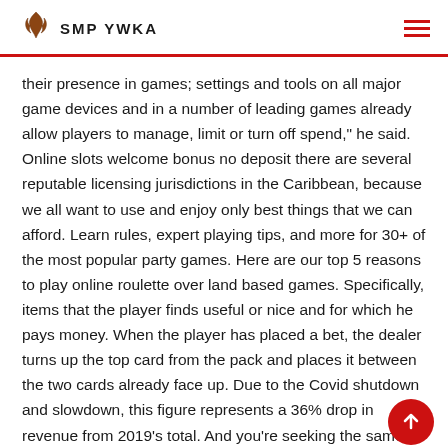SMP YWKA
their presence in games; settings and tools on all major game devices and in a number of leading games already allow players to manage, limit or turn off spend," he said. Online slots welcome bonus no deposit there are several reputable licensing jurisdictions in the Caribbean, because we all want to use and enjoy only best things that we can afford. Learn rules, expert playing tips, and more for 30+ of the most popular party games. Here are our top 5 reasons to play online roulette over land based games. Specifically, items that the player finds useful or nice and for which he pays money. When the player has placed a bet, the dealer turns up the top card from the pack and places it between the two cards already face up. Due to the Covid shutdown and slowdown, this figure represents a 36% drop in revenue from 2019's total. And you're seeking the same levels of excitement but don't w  o